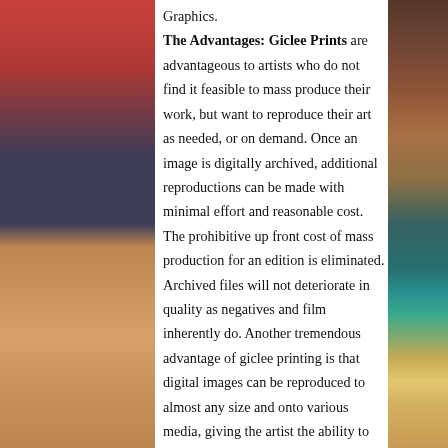Graphics. The Advantages: Giclee Prints are advantageous to artists who do not find it feasible to mass produce their work, but want to reproduce their art as needed, or on demand. Once an image is digitally archived, additional reproductions can be made with minimal effort and reasonable cost. The prohibitive up front cost of mass production for an edition is eliminated. Archived files will not deteriorate in quality as negatives and film inherently do. Another tremendous advantage of giclee printing is that digital images can be reproduced to almost any size and onto various media, giving the artist the ability to customize prints for a specific client.